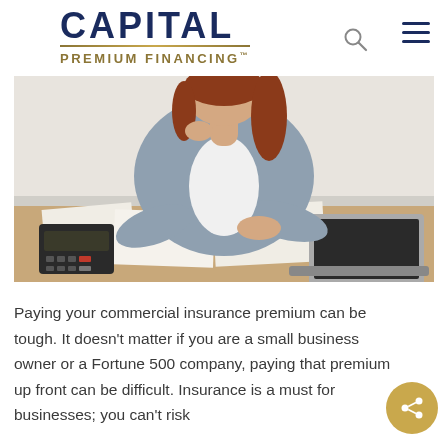CAPITAL PREMIUM FINANCING™
[Figure (photo): Woman with red hair sitting at a desk with a calculator, papers, and a laptop, looking stressed, wearing a plaid shirt]
Paying your commercial insurance premium can be tough. It doesn't matter if you are a small business owner or a Fortune 500 company, paying that premium up front can be difficult. Insurance is a must for businesses; you can't risk